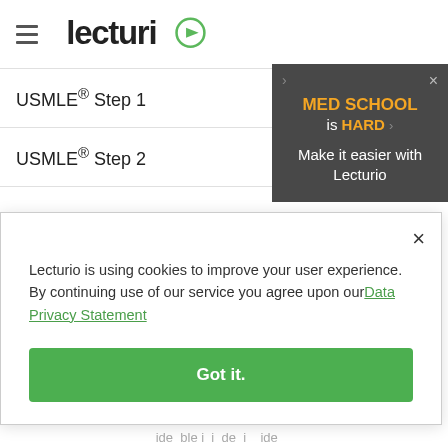Lecturio
USMLE® Step 1
USMLE® Step 2
[Figure (screenshot): Dark popup banner in top-right corner: MED SCHOOL is HARD / Make it easier with Lecturio]
Lecturio is using cookies to improve your user experience. By continuing use of our service you agree upon our Data Privacy Statement
Got it.